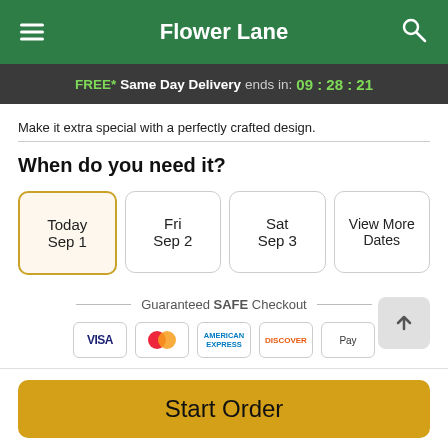Flower Lane
FREE* Same Day Delivery ends in: 09:28:21
Make it extra special with a perfectly crafted design.
When do you need it?
Today Sep 1
Fri Sep 2
Sat Sep 3
View More Dates
Guaranteed SAFE Checkout
VISA | Mastercard | American Express | Discover | Apple Pay
Start Order